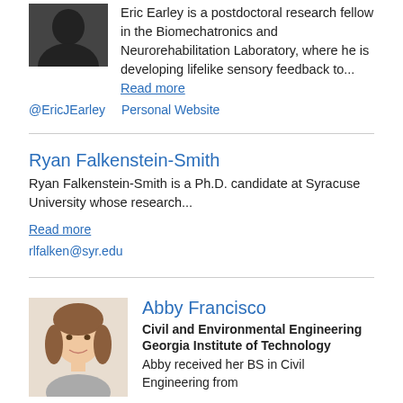[Figure (photo): Black and white photo of Eric Earley (top portion cropped)]
Eric Earley is a postdoctoral research fellow in the Biomechatronics and Neurorehabilitation Laboratory, where he is developing lifelike sensory feedback to... Read more
@EricJEarley   Personal Website
Ryan Falkenstein-Smith
Ryan Falkenstein-Smith is a Ph.D. candidate at Syracuse University whose research...
Read more
rlfalken@syr.edu
[Figure (photo): Photo of Abby Francisco, a young woman with long brown hair, smiling]
Abby Francisco
Civil and Environmental Engineering
Georgia Institute of Technology
Abby received her BS in Civil Engineering from